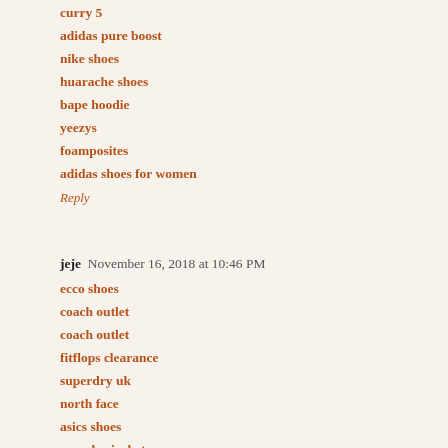curry 5
adidas pure boost
nike shoes
huarache shoes
bape hoodie
yeezys
foamposites
adidas shoes for women
Reply
jeje  November 16, 2018 at 10:46 PM
ecco shoes
coach outlet
coach outlet
fitflops clearance
superdry uk
north face
asics shoes
moncler jacket
nike blazers
ralph lauren polo